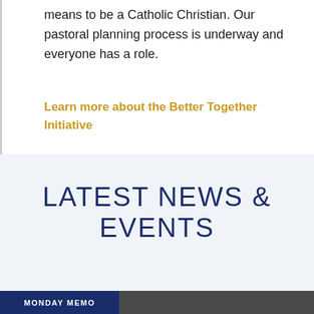means to be a Catholic Christian. Our pastoral planning process is underway and everyone has a role.
Learn more about the Better Together Initiative
LATEST NEWS & EVENTS
MONDAY MEMO